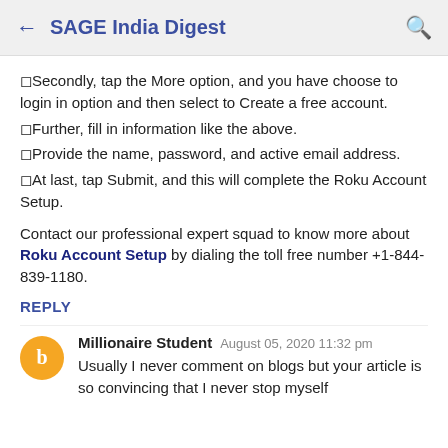← SAGE India Digest 🔍
◻Secondly, tap the More option, and you have choose to login in option and then select to Create a free account.
◻Further, fill in information like the above.
◻Provide the name, password, and active email address.
◻At last, tap Submit, and this will complete the Roku Account Setup.
Contact our professional expert squad to know more about Roku Account Setup by dialing the toll free number +1-844-839-1180.
REPLY
Millionaire Student  August 05, 2020 11:32 pm
Usually I never comment on blogs but your article is so convincing that I never stop myself